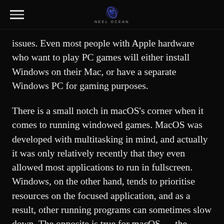NEEL OCEAN
issues. Even most people with Apple hardware who want to play PC games will either install Windows on their Mac, or have a separate Windows PC for gaming purposes.
There is a small notch in macOS's corner when it comes to running windowed games. MacOS was developed with multitasking in mind, and actually it was only relatively recently that they even allowed most applications to run in fullscreen. Windows, on the other hand, tends to prioritise resources on the focused application, and as a result, other running programs can sometimes slow down. The opposite is true for macOS — the